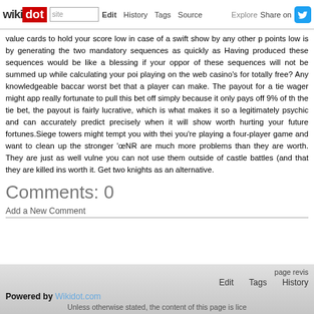wikidot | Edit | History | Tags | Source | Explore | Share on
value cards to hold your score low in case of a swift show by any other p points low is by generating the two mandatory sequences as quickly as Having produced these sequences would be like a blessing if your oppor of these sequences will not be summed up while calculating your poi playing on the web casino's for totally free? Any knowledgeable baccar worst bet that a player can make. The payout for a tie wager might app really fortunate to pull this bet off simply because it only pays off 9% of th the tie bet, the payout is fairly lucrative, which is what makes it so a legitimately psychic and can accurately predict precisely when it will show worth hurting your future fortunes. Siege towers might tempt you with thei you're playing a four-player game and want to clean up the stronger 'œNR are much more problems than they are worth. They are just as well vulne you can not use them outside of castle battles (and that they are killed ins worth it. Get two knights as an alternative.
Comments: 0
Add a New Comment
page revis
Edit   Tags   History
Powered by Wikidot.com
Unless otherwise stated, the content of this page is lice